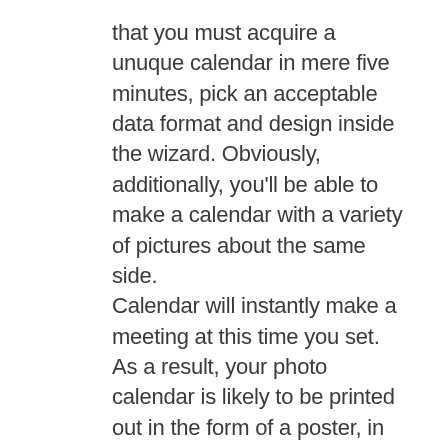that you must acquire a unuque calendar in mere five minutes, pick an acceptable data format and design inside the wizard. Obviously, additionally, you'll be able to make a calendar with a variety of pictures about the same side.
Calendar will instantly make a meeting at this time you set. As a result, your photo calendar is likely to be printed out in the form of a poster, in so doing helping you to easily verify your consultations and upcoming holiday break. By comparison, other styles of image calendars like personalised old-fashioned calendars and organizers don't need any longer than 1 photograph.
There are a variety of methods to create your personal calendar. Once you create